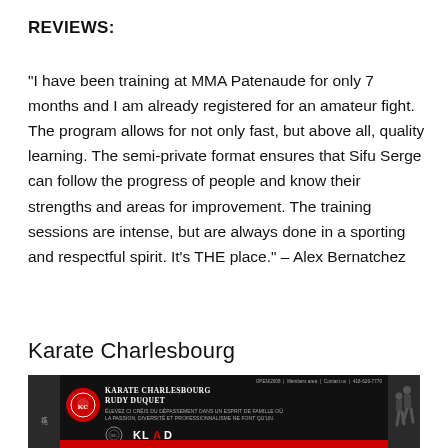REVIEWS:
“I have been training at MMA Patenaude for only 7 months and I am already registered for an amateur fight. The program allows for not only fast, but above all, quality learning. The semi-private format ensures that Sifu Serge can follow the progress of people and know their strengths and areas for improvement. The training sessions are intense, but are always done in a sporting and respectful spirit. It’s THE place.” – Alex Bernatchez
Karate Charlesbourg
[Figure (screenshot): Screenshot of Karate Charlesbourg website showing logo, header with 'KARATE CHARLESBOURG RUDY DUQUET', navigation bar, two martial artists, and KLAD branding logo. Black background with red accents.]